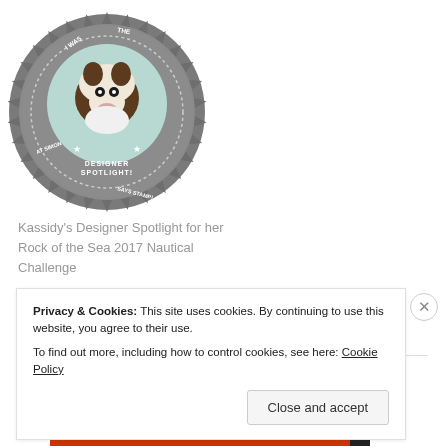[Figure (logo): Circular designer spotlight badge with a cartoon Boston Terrier dog illustration in the center, teal/mint background circle, surrounded by a gray starburst/gear border with text 'I WAS THE DESIGNER SPOTLIGHT! AT SIMON SAYS STAMP!']
Kassidy's Designer Spotlight for her Rock of the Sea 2017 Nautical Challenge
[Figure (logo): Partially visible circular 'FEATURED' badge with starburst border, gray color, partially cropped at bottom of visible area]
Privacy & Cookies: This site uses cookies. By continuing to use this website, you agree to their use.
To find out more, including how to control cookies, see here: Cookie Policy
Close and accept